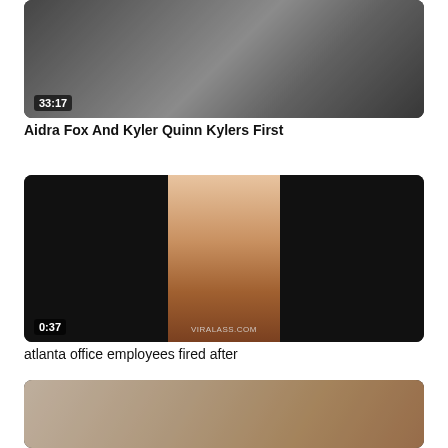[Figure (photo): Video thumbnail showing figures on a bed with timestamp 33:17, top portion cut off]
Aidra Fox And Kyler Quinn Kylers First
[Figure (photo): Video thumbnail with black bars on left and right, center shows two figures, watermark VIRALASS.COM, duration 0:37]
atlanta office employees fired after
[Figure (photo): Video thumbnail showing person on white couch wearing black dress, partially visible]